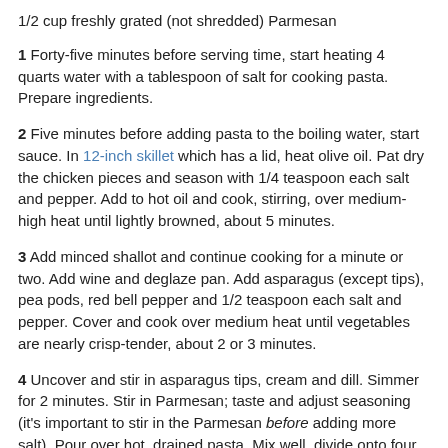1/2 cup freshly grated (not shredded) Parmesan
1 Forty-five minutes before serving time, start heating 4 quarts water with a tablespoon of salt for cooking pasta. Prepare ingredients.
2 Five minutes before adding pasta to the boiling water, start sauce. In 12-inch skillet which has a lid, heat olive oil. Pat dry the chicken pieces and season with 1/4 teaspoon each salt and pepper. Add to hot oil and cook, stirring, over medium-high heat until lightly browned, about 5 minutes.
3 Add minced shallot and continue cooking for a minute or two. Add wine and deglaze pan. Add asparagus (except tips), pea pods, red bell pepper and 1/2 teaspoon each salt and pepper. Cover and cook over medium heat until vegetables are nearly crisp-tender, about 2 or 3 minutes.
4 Uncover and stir in asparagus tips, cream and dill. Simmer for 2 minutes. Stir in Parmesan; taste and adjust seasoning (it's important to stir in the Parmesan before adding more salt). Pour over hot, drained pasta. Mix well, divide onto four